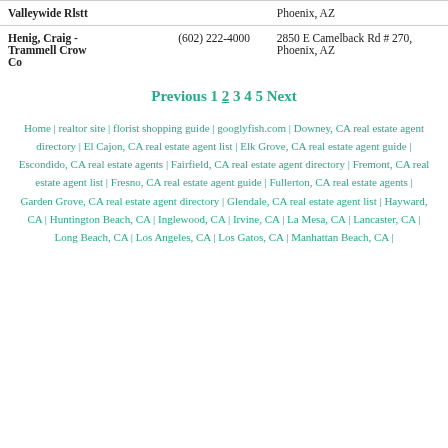| Name | Phone | Address |
| --- | --- | --- |
| Valleywide Rlstt |  | Phoenix, AZ |
| Henig, Craig - Trammell Crow Co | (602) 222-4000 | 2850 E Camelback Rd # 270, Phoenix, AZ |
Previous 1 2 3 4 5 Next
Home | realtor site | florist shopping guide | googlyfish.com | Downey, CA real estate agent directory | El Cajon, CA real estate agent list | Elk Grove, CA real estate agent guide | Escondido, CA real estate agents | Fairfield, CA real estate agent directory | Fremont, CA real estate agent list | Fresno, CA real estate agent guide | Fullerton, CA real estate agents | Garden Grove, CA real estate agent directory | Glendale, CA real estate agent list | Hayward, CA | Huntington Beach, CA | Inglewood, CA | Irvine, CA | La Mesa, CA | Lancaster, CA | Long Beach, CA | Los Angeles, CA | Los Gatos, CA | Manhattan Beach, CA |